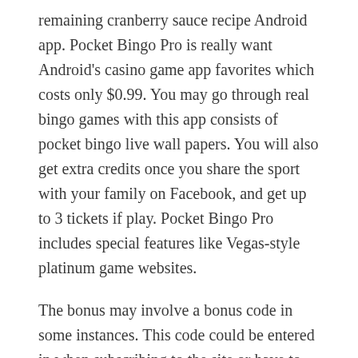remaining cranberry sauce recipe Android app. Pocket Bingo Pro is really want Android's casino game app favorites which costs only $0.99. You may go through real bingo games with this app consists of pocket bingo live wall papers. You will also get extra credits once you share the sport with your family on Facebook, and get up to 3 tickets if play. Pocket Bingo Pro includes special features like Vegas-style platinum game websites.
The bonus may involve a bonus code in some instances. This code could be entered in when subscribing to the site or have to possess a deposit after signing upward.
If you want to know more about gambling within a